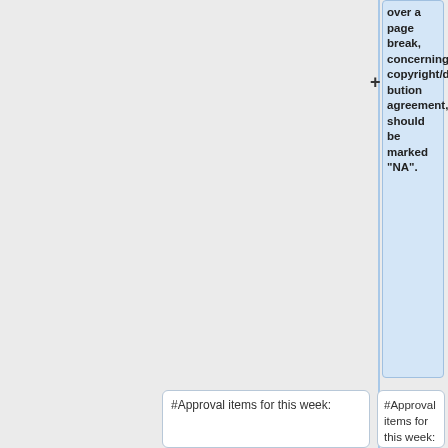over a page break, concerning copyright/distribution agreement, should be marked "NA".
#Approval items for this week:
#Approval items for this week:
## [https://gforge.hl7.org/gf/download/trackeritem/14128/15889/20171018_HL7_Publication_Request_Template_2016May_C-CDA_R2%201_Errata%202.docx STU